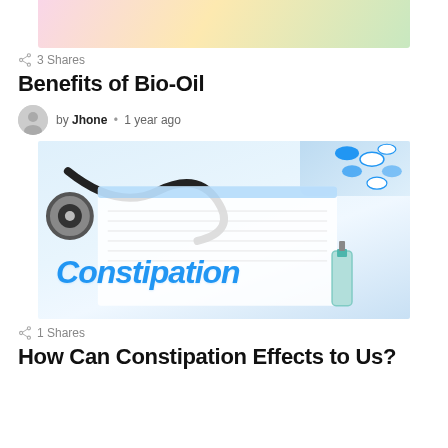[Figure (photo): Top portion of a photo showing flowers and natural elements (pink flowers, green leaves), partially cropped at the top of the page]
3 Shares
Benefits of Bio-Oil
by Jhone • 1 year ago
[Figure (photo): Medical photo showing a stethoscope, blue and white pills/capsules, a syringe, and a clipboard/paper with the word 'Constipation' written in large blue italic text]
1 Shares
How Can Constipation Effects to Us?